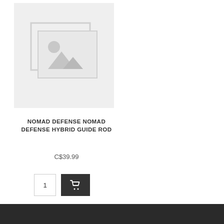[Figure (photo): Placeholder product image with grey background showing a generic image placeholder icon (landscape with sun and mountains)]
NOMAD DEFENSE NOMAD DEFENSE HYBRID GUIDE ROD
C$39.99
[Figure (screenshot): Add to cart controls: quantity input box showing '1' and a dark shopping cart button]